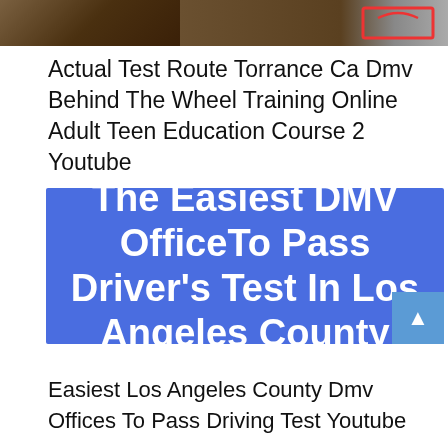[Figure (photo): Top image strip showing a driving scene and a map graphic]
Actual Test Route Torrance Ca Dmv Behind The Wheel Training Online Adult Teen Education Course 2 Youtube
[Figure (infographic): Blue banner with white bold text reading: The Easiest DMV OfficeTo Pass Driver's Test In Los Angeles County]
Easiest Los Angeles County Dmv Offices To Pass Driving Test Youtube